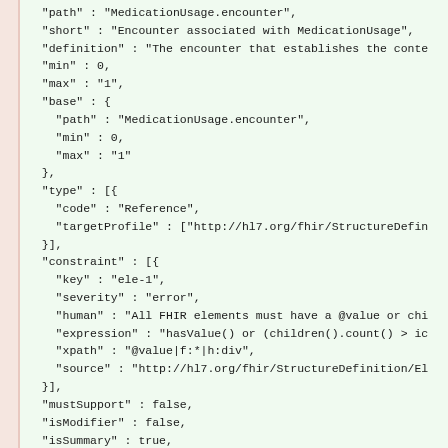JSON/FHIR StructureDefinition element snippet showing path, short, definition, min, max, base, type, constraint, mustSupport, isModifier, isSummary, and mapping fields for MedicationUsage.encounter